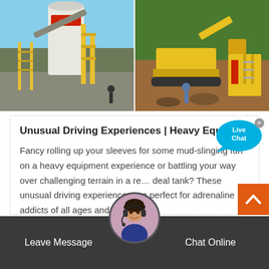[Figure (photo): Two side-by-side photos of heavy industrial/construction equipment. Left: industrial plant with white silo/tank, yellow metal structure, conveyor belt, blue sky. Right: yellow crawler excavator and heavy machinery on a construction/mining site with workers visible.]
Unusual Driving Experiences | Heavy Equi…
Fancy rolling up your sleeves for some mud-slinging fun on a heavy equipment experience or battling your way over challenging terrain in a re… deal tank? These unusual driving experiences are perfect for adrenaline addicts of all ages and …
[Figure (other): Live Chat speech bubble button in cyan/blue color with 'Live Chat' text in white]
[Figure (other): Orange scroll-to-top button with upward chevron arrow]
[Figure (photo): Circular avatar of a female customer service agent wearing a headset, professional appearance]
Leave Message
Chat Online